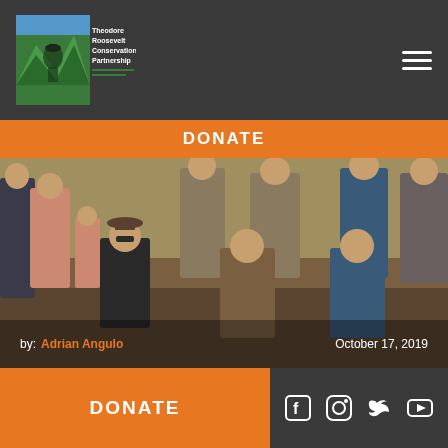Theodore Roosevelt Conservation Partnership
DONATE
[Figure (photo): Group photo of people posing outdoors on dirt ground, some kneeling in front row, others standing in back row. Overlaid with a circular avatar portrait of a person in camouflage outdoors.]
by: Adrian Angulo
October 17, 2019
DONATE
Social media icons: Facebook, Instagram, Twitter, YouTube